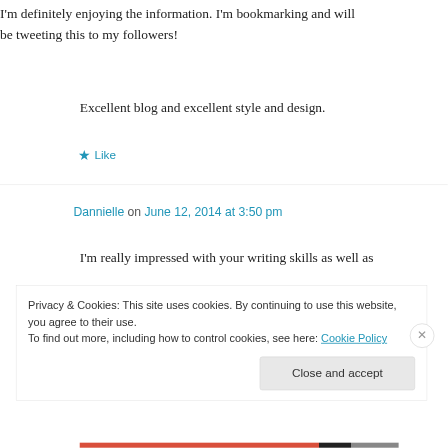I'm definitely enjoying the information. I'm bookmarking and will be tweeting this to my followers!
Excellent blog and excellent style and design.
★ Like
Dannielle on June 12, 2014 at 3:50 pm
I'm really impressed with your writing skills as well as
Privacy & Cookies: This site uses cookies. By continuing to use this website, you agree to their use.
To find out more, including how to control cookies, see here: Cookie Policy
Close and accept